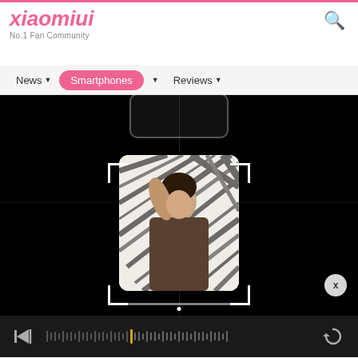xiaomiui - No.1 Fan Community
News | Smartphones | Reviews
[Figure (screenshot): Xiaomi smartphone camera app interface showing a person holding a striped fabric/cloth draped over their shoulder, viewed through the camera UI with bracket focus guides, timeline scrubber at bottom, skip, and refresh controls. An X close button is visible on the right side.]